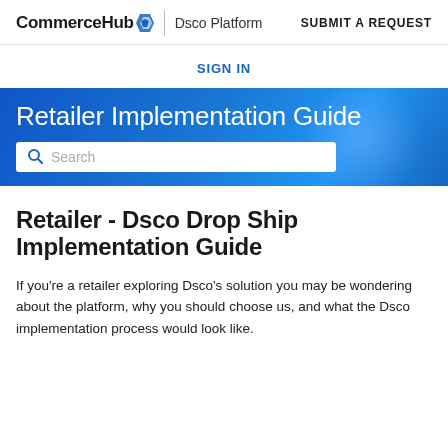CommerceHub | Dsco Platform   SUBMIT A REQUEST
SIGN IN
Retailer Implementation Guide
Retailer - Dsco Drop Ship Implementation Guide
If you're a retailer exploring Dsco's solution you may be wondering about the platform, why you should choose us, and what the Dsco implementation process would look like.